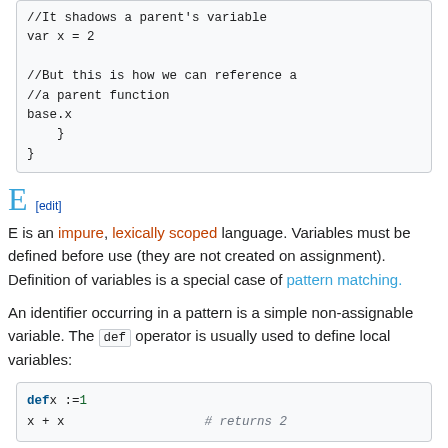//It shadows a parent's variable
var x = 2

//But this is how we can reference a
//a parent function
base.x
    }
}
E [edit]
E is an impure, lexically scoped language. Variables must be defined before use (they are not created on assignment). Definition of variables is a special case of pattern matching.
An identifier occurring in a pattern is a simple non-assignable variable. The def operator is usually used to define local variables:
def x := 1
x + x          # returns 2